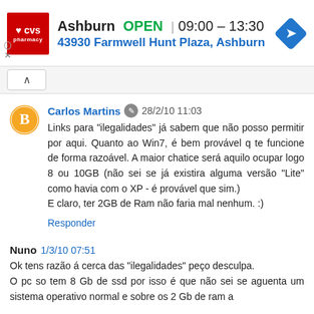[Figure (other): CVS Pharmacy advertisement banner showing store location in Ashburn, open hours 09:00–13:30, address 43930 Farmwell Hunt Plaza, Ashburn]
Carlos Martins  28/2/10 11:03
Links para "ilegalidades" já sabem que não posso permitir por aqui. Quanto ao Win7, é bem provável q te funcione de forma razoável. A maior chatice será aquilo ocupar logo 8 ou 10GB (não sei se já existira alguma versão "Lite" como havia com o XP - é provável que sim.)
E claro, ter 2GB de Ram não faria mal nenhum. :)
Responder
Nuno  1/3/10 07:51
Ok tens razão á cerca das "ilegalidades" peço desculpa.
O pc so tem 8 Gb de ssd por isso é que não sei se aguenta um sistema operativo normal e sobre os 2 Gb de ram a